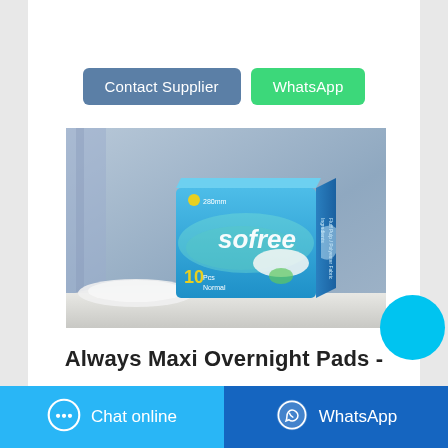[Figure (screenshot): Two buttons: 'Contact Supplier' (blue-grey) and 'WhatsApp' (green)]
[Figure (photo): Product photo of a Sofree sanitary pad box (10 pcs Normal, 280mm), blue packaging, placed on a table with curtains in background]
Always Maxi Overnight Pads -
[Figure (screenshot): Bottom navigation bar with 'Chat online' (cyan) and 'WhatsApp' (dark blue) buttons]